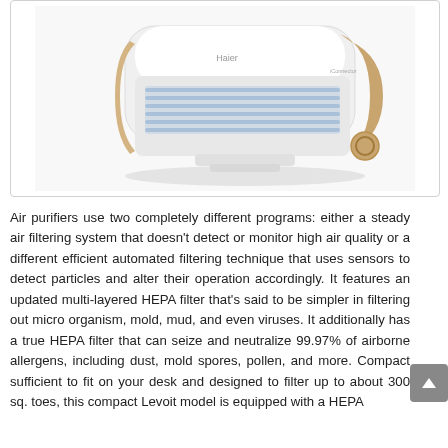[Figure (photo): Product photo of a white and gold Haier air purifier on a white background, showing the front and side profile with ventilation grilles.]
Air purifiers use two completely different programs: either a steady air filtering system that doesn't detect or monitor high air quality or a different efficient automated filtering technique that uses sensors to detect particles and alter their operation accordingly. It features an updated multi-layered HEPA filter that's said to be simpler in filtering out micro organism, mold, mud, and even viruses. It additionally has a true HEPA filter that can seize and neutralize 99.97% of airborne allergens, including dust, mold spores, pollen, and more. Compact sufficient to fit on your desk and designed to filter up to about 300 sq. toes, this compact Levoit model is equipped with a HEPA